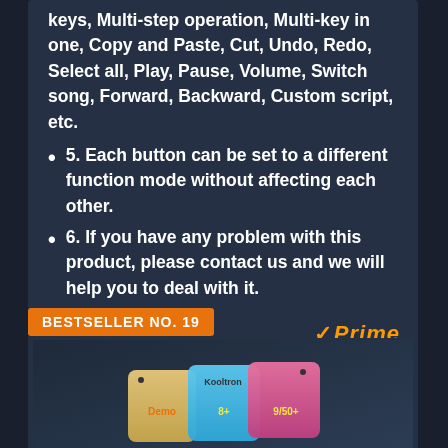keys, Multi-step operation, Multi-key in one, Copy and Paste, Cut, Undo, Redo, Select all, Play, Pause, Volume, Switch song, Forward, Backward, Custom script, etc.
5. Each button can be set to a different function mode without affecting each other.
6. If you have any problem with this product, please contact us and we will help you to deal with it.
[Figure (logo): Amazon Prime badge with gold checkmark and Prime text in italic gold]
[Figure (screenshot): Buy on Amazon yellow button with cart icon]
BESTSELLER NO. 19
[Figure (photo): Kooltron branded colorful mini keyboard macro pad product photo showing multiple small colorful keys]